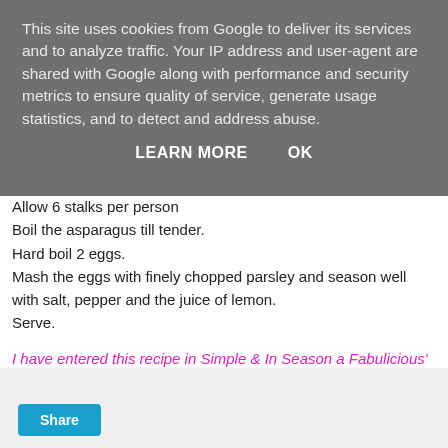This site uses cookies from Google to deliver its services and to analyze traffic. Your IP address and user-agent are shared with Google along with performance and security metrics to ensure quality of service, generate usage statistics, and to detect and address abuse.
LEARN MORE   OK
Allow 6 stalks per person
Boil the asparagus till tender.
Hard boil 2 eggs.
Mash the eggs with finely chopped parsley and season well with salt, pepper and the juice of lemon.
Serve.
I have entered this recipe in Simple & In Season a Fabulicious' event, this month hosted by How to Cook Good Food
Share